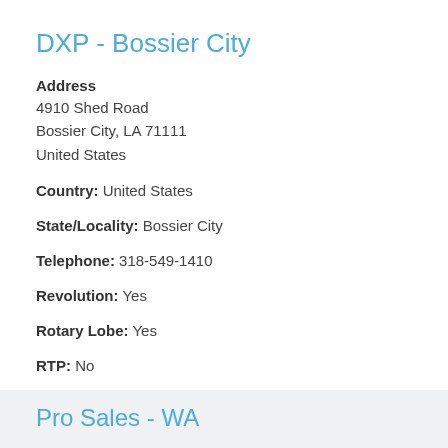DXP - Bossier City
Address
4910 Shed Road
Bossier City, LA 71111
United States
Country: United States
State/Locality: Bossier City
Telephone: 318-549-1410
Revolution: Yes
Rotary Lobe: Yes
RTP: No
TRA 10 & 20: Yes
No
Pro Sales - WA